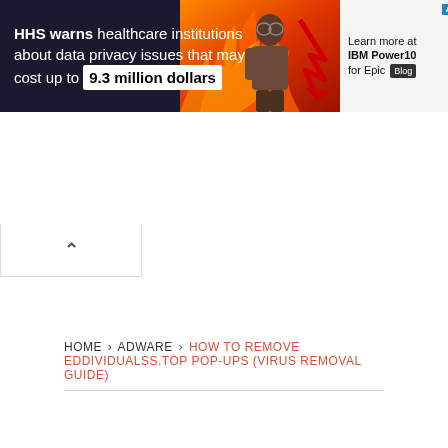[Figure (screenshot): Advertisement banner: HHS warns healthcare institutions about data privacy issues that may cost up to 9.3 million dollars. Right side shows IBM Power10 for Epic Blog ad.]
[Figure (screenshot): Collapse/up-arrow button below the ad banner]
≡ MENU
HOME › ADWARE › HOW TO REMOVE EDDIVIDUALSS.TOP POP-UPS (VIRUS REMOVAL GUIDE)